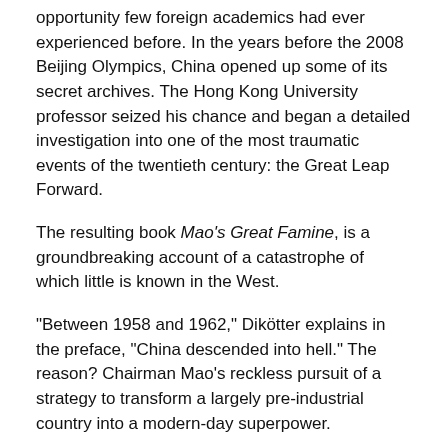opportunity few foreign academics had ever experienced before. In the years before the 2008 Beijing Olympics, China opened up some of its secret archives. The Hong Kong University professor seized his chance and began a detailed investigation into one of the most traumatic events of the twentieth century: the Great Leap Forward.
The resulting book Mao's Great Famine, is a groundbreaking account of a catastrophe of which little is known in the West.
"Between 1958 and 1962," Dikötter explains in the preface, "China descended into hell." The reason? Chairman Mao's reckless pursuit of a strategy to transform a largely pre-industrial country into a modern-day superpower.
"The experiment ended in the greatest catastrophe the country had ever known, destroying tens of millions of lives," says the Dutch historian, who is also a professor at the School of Oriental and African Studies in London.
Dikötter starts the tale with Stalin's death in 1953. Mao was